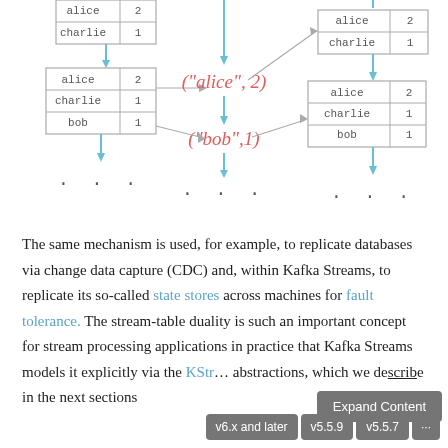[Figure (flowchart): A stream-table duality diagram showing tables with alice/charlie/bob entries on the left, stream events ("alice",2) and ("bob",1) in the center in red cursive text, and resulting tables on the right, connected by arrows. Ellipsis dots indicate continuation.]
The same mechanism is used, for example, to replicate databases via change data capture (CDC) and, within Kafka Streams, to replicate its so-called state stores across machines for fault tolerance. The stream-table duality is such an important concept for stream processing applications in practice that Kafka Streams models it explicitly via the KStr... abstractions, which we describe in the next sections